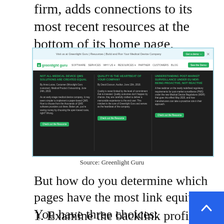firm, adds connections to its most recent resources at the bottom of its home page.
[Figure (screenshot): Screenshot of the Greenlight Guru website showing three resource cards on a dark background: 'Not All Medical Device QMS Solutions Are Created Equal', 'Quality is the Heartbeat of Your Company', and 'Understanding Post-Market Surveillance Under EU MDR: Being Proactive, Not Reactive'. Each card has a 'Check out this Resource' button.]
Source: Greenlight Guru
But how do you determine which pages have the most link equity? You have three choices:
1. Examine the backlink profile for each your pages. The pages with the most links